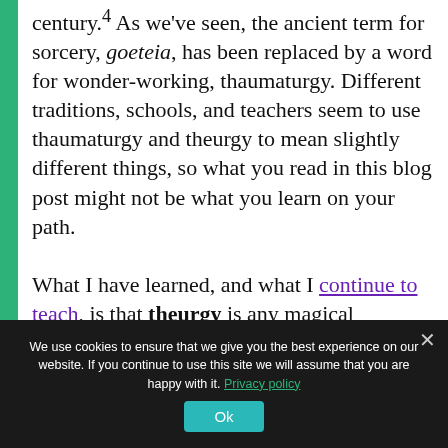magic has changed in the 21st century.4 As we've seen, the ancient term for sorcery, goeteia, has been replaced by a word for wonder-working, thaumaturgy. Different traditions, schools, and teachers seem to use thaumaturgy and theurgy to mean slightly different things, so what you read in this blog post might not be what you learn on your path.

What I have learned, and what I continue to teach, is that theurgy is any magical
We use cookies to ensure that we give you the best experience on our website. If you continue to use this site we will assume that you are happy with it. Privacy policy